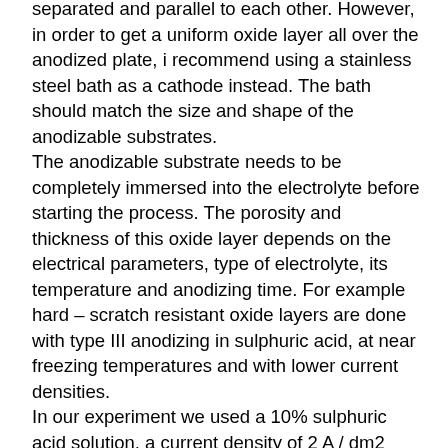separated and parallel to each other. However, in order to get a uniform oxide layer all over the anodized plate, i recommend using a stainless steel bath as a cathode instead. The bath should match the size and shape of the anodizable substrates. The anodizable substrate needs to be completely immersed into the electrolyte before starting the process. The porosity and thickness of this oxide layer depends on the electrical parameters, type of electrolyte, its temperature and anodizing time. For example hard – scratch resistant oxide layers are done with type III anodizing in sulphuric acid, at near freezing temperatures and with lower current densities. In our experiment we used a 10% sulphuric acid solution, a current density of 2 A / dm2 and the anodizing time was 30 minutes. Since the total surface area of the substrate was 3 dm2, the anodizing current was set to 6 ampers. The temperature of the solution was around 22C at start but it had significantly increased when we measured it again after anodizing. So if the equipment to reproduce this